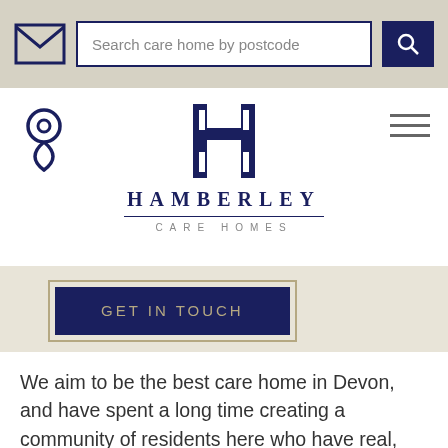Search care home by postcode
[Figure (logo): Hamberley Care Homes logo with stylized H and text HAMBERLEY CARE HOMES]
[Figure (other): GET IN TOUCH button with dark navy background and gold border]
We aim to be the best care home in Devon, and have spent a long time creating a community of residents here who have real, genuine connections with each other, as well as